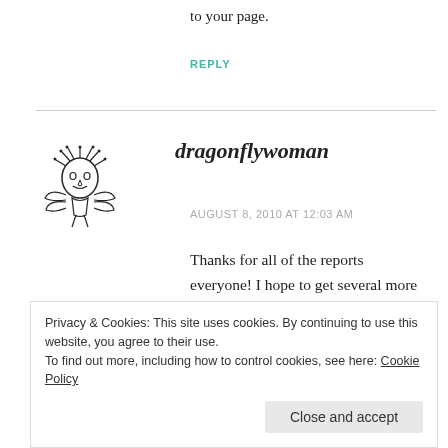to your page.
REPLY
[Figure (illustration): Hand-drawn dragonfly woman avatar illustration in black and white]
dragonflywoman
AUGUST 8, 2010 AT 12:03 AM
Thanks for all of the reports everyone! I hope to get several more this summer, so keep them coming!
Privacy & Cookies: This site uses cookies. By continuing to use this website, you agree to their use.
To find out more, including how to control cookies, see here: Cookie Policy
Close and accept